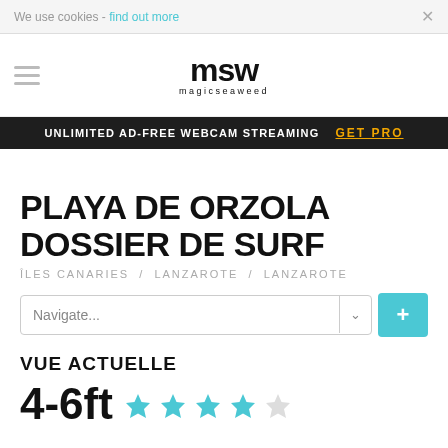We use cookies - find out more ×
[Figure (logo): Magicseaweed logo with stylized 'msw' letters and 'magicseaweed' text below]
UNLIMITED AD-FREE WEBCAM STREAMING  GET PRO
PLAYA DE ORZOLA DOSSIER DE SURF
ÎLES CANARIES / LANZAROTE / LANZAROTE
Navigate...
VUE ACTUELLE
4-6ft ★★★★☆